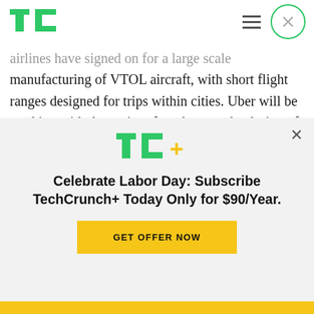TechCrunch
...airlines have signed on for a large scale manufacturing of VTOL aircraft, with short flight ranges designed for trips within cities. Uber will be working with these aircraft makers on the design of software and hardware used to manage and deploy the VTOLs, as well as the means by which local transit authorities and airspace regulators can plug into the system. This will be key, as Uber's typical
[Figure (logo): TechCrunch+ logo in green and yellow]
Celebrate Labor Day: Subscribe TechCrunch+ Today Only for $90/Year.
GET OFFER NOW